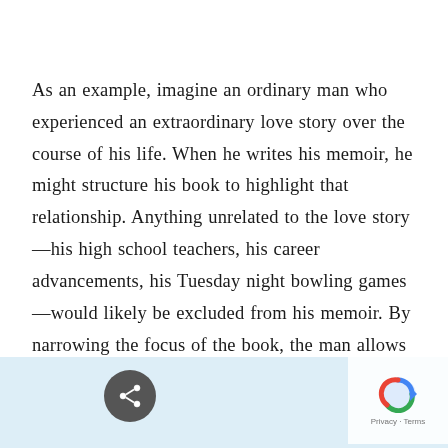As an example, imagine an ordinary man who experienced an extraordinary love story over the course of his life. When he writes his memoir, he might structure his book to highlight that relationship. Anything unrelated to the love story—his high school teachers, his career advancements, his Tuesday night bowling games—would likely be excluded from his memoir. By narrowing the focus of the book, the man allows the reader to engage with the most interesting parts of his personal story.
[Figure (other): Blue horizontal navigation bar at the bottom of the page with a share button icon and reCAPTCHA logo overlay]